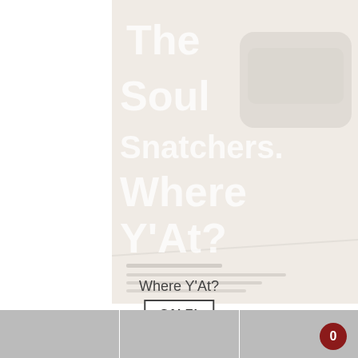[Figure (photo): Faded/washed-out book cover image showing 'The Soul Snatchers. Where Y'At?' title text in white on a light background with a street scene.]
Where Y'At?
SALE!